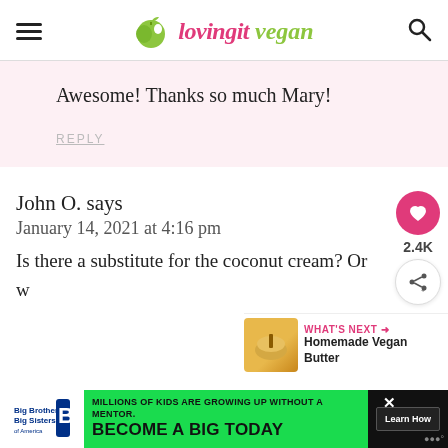lovingitvegan
Awesome! Thanks so much Mary!
REPLY
John O. says
January 14, 2021 at 4:16 pm
Is there a substitute for the coconut cream? Or w...
[Figure (other): WHAT'S NEXT arrow label with thumbnail image for Homemade Vegan Butter article]
[Figure (other): Advertisement banner: Big Brothers Big Sisters - Millions of kids are growing up without a mentor. Become a Big Today. Learn How.]